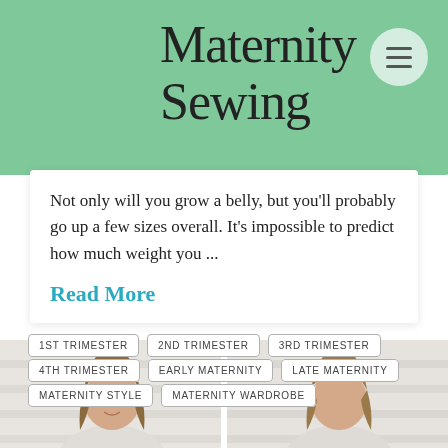Maternity Sewing
Not only will you grow a belly, but you'll probably go up a few sizes overall. It's impossible to predict how much weight you ...
Read More
1ST TRIMESTER
2ND TRIMESTER
3RD TRIMESTER
4TH TRIMESTER
EARLY MATERNITY
LATE MATERNITY
MATERNITY STYLE
MATERNITY WARDROBE
[Figure (photo): Two photos of a woman with long brown hair, side by side at the bottom of the page]